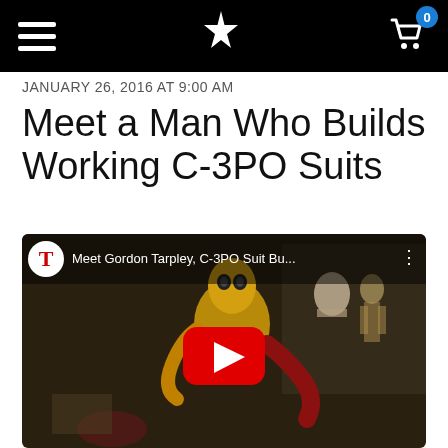Navigation bar with hamburger menu, star logo, and shopping cart (0 items)
JANUARY 26, 2016 AT 9:00 AM
Meet a Man Who Builds Working C-3PO Suits
[Figure (screenshot): YouTube video thumbnail showing C-3PO costume builder Gordon Tarpley in a workshop. The video title reads 'Meet Gordon Tarpley, C-3PO Suit Bu...' A red YouTube play button is centered on the image.]